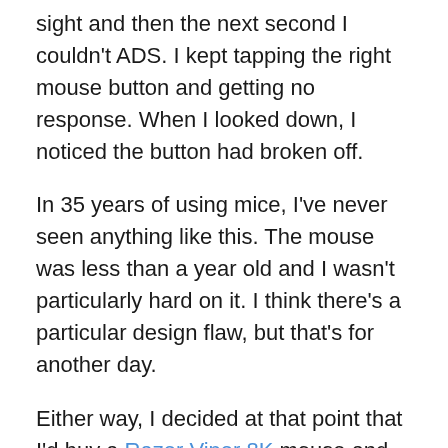sight and then the next second I couldn't ADS. I kept tapping the right mouse button and getting no response. When I looked down, I noticed the button had broken off.
In 35 years of using mice, I've never seen anything like this. The mouse was less than a year old and I wasn't particularly hard on it. I think there's a particular design flaw, but that's for another day.
Either way, I decided at that point that I'd buy a Razer Viper 8K mouse and give that a spin because I really liked the shape of the Razer Viper Ultimate, but I personally prefer wired peripherals.
The Perfect Ambidextrous Mouse